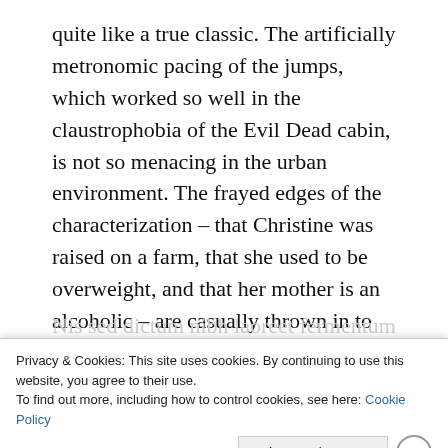quite like a true classic. The artificially metronomic pacing of the jumps, which worked so well in the claustrophobia of the Evil Dead cabin, is not so menacing in the urban environment. The frayed edges of the characterization – that Christine was raised on a farm, that she used to be overweight, and that her mother is an alcoholic – are casually thrown in to advance the story without much care. And at 99 minutes the film is probably about 10 minutes too long, and drags noticeably in places.
Privacy & Cookies: This site uses cookies. By continuing to use this website, you agree to their use.
To find out more, including how to control cookies, see here: Cookie Policy
Close and accept